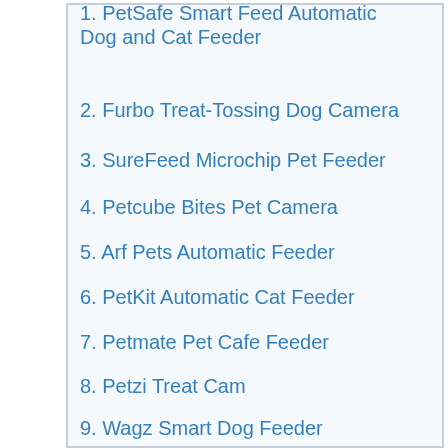1. PetSafe Smart Feed Automatic Dog and Cat Feeder
2. Furbo Treat-Tossing Dog Camera
3. SureFeed Microchip Pet Feeder
4. Petcube Bites Pet Camera
5. Arf Pets Automatic Feeder
6. PetKit Automatic Cat Feeder
7. Petmate Pet Cafe Feeder
8. Petzi Treat Cam
9. Wagz Smart Dog Feeder
10. Petnet Smart Feeder (2nd Gen)
How do smart pet feeders work?
Why you should use a smart pet feeder